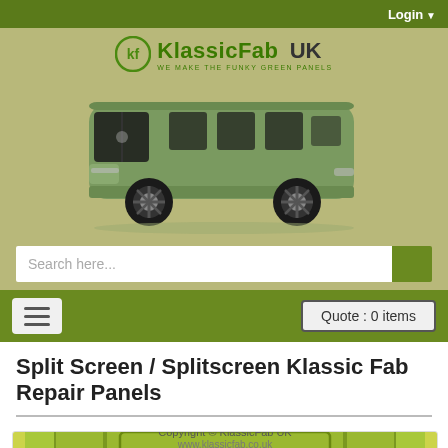Login
[Figure (logo): KlassicFab UK logo with circular KF emblem and tagline 'WE MAKE THE FUNKY GREEN PANELS', beside a green VW Split Screen camper van illustration]
Search here...
≡   Quote : 0 items
Split Screen / Splitscreen Klassic Fab Repair Panels
[Figure (photo): Green metal VW Split Screen repair panel product photo with Copyright © KlassicFab UK watermark]